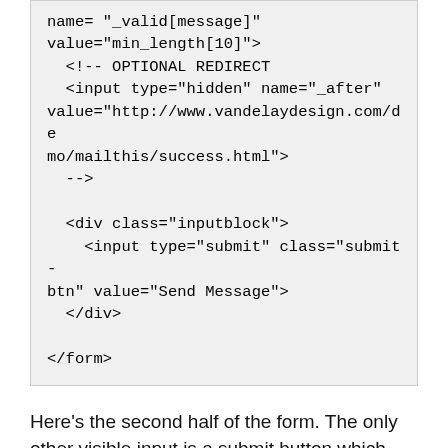[Figure (screenshot): Code block showing HTML form snippet with comment block for optional redirect and a div with submit button input, ending with closing form tag]
Here's the second half of the form. The only other visible input is a submit button which actually